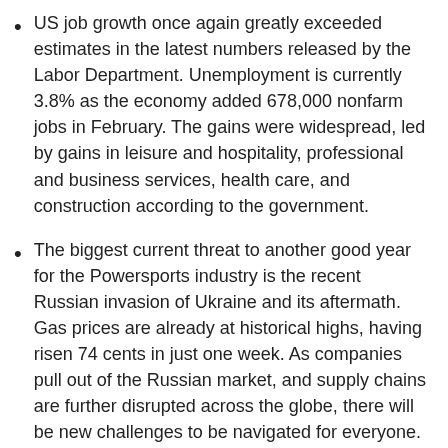US job growth once again greatly exceeded estimates in the latest numbers released by the Labor Department. Unemployment is currently 3.8% as the economy added 678,000 nonfarm jobs in February. The gains were widespread, led by gains in leisure and hospitality, professional and business services, health care, and construction according to the government.
The biggest current threat to another good year for the Powersports industry is the recent Russian invasion of Ukraine and its aftermath. Gas prices are already at historical highs, having risen 74 cents in just one week. As companies pull out of the Russian market, and supply chains are further disrupted across the globe, there will be new challenges to be navigated for everyone.